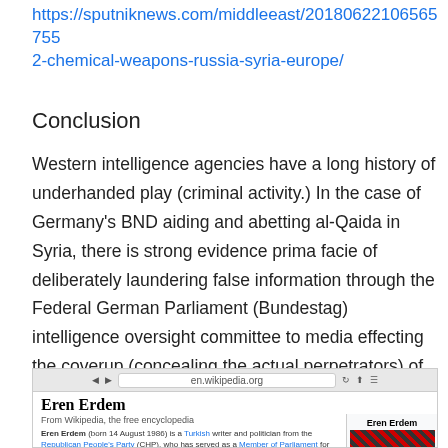https://sputniknews.com/middleeast/20180622106565755 2-chemical-weapons-russia-syria-europe/
Conclusion
Western intelligence agencies have a long history of underhanded play (criminal activity.) In the case of Germany's BND aiding and abetting al-Qaida in Syria, there is strong evidence prima facie of deliberately laundering false information through the Federal German Parliament (Bundestag) intelligence oversight committee to media effecting the coverup (concealing the actual perpetrators) of a war crime involving sarin gas, per the original information provided to the ICC as amended:
[Figure (screenshot): Screenshot of Wikipedia page for 'Eren Erdem', showing browser bar with en.wikipedia.org URL, article title 'Eren Erdem', subtitle 'From Wikipedia, the free encyclopedia', brief description text, and a right-side info box with the name 'Eren Erdem' and a partially visible image.]